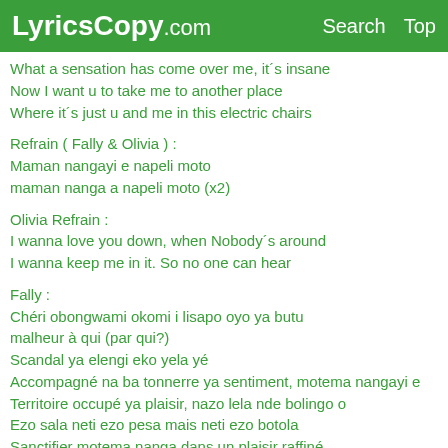LyricsCopy.com   Search   Top
What a sensation has come over me, it´s insane
Now I want u to take me to another place
Where it´s just u and me in this electric chairs
Refrain ( Fally & Olivia ) :
Maman nangayi e napeli moto
maman nanga a napeli moto (x2)
Olivia Refrain :
I wanna love you down, when Nobody´s around
I wanna keep me in it. So no one can hear
Fally :
Chéri obongwami okomi i lisapo oyo ya butu
malheur à qui (par qui?)
Scandal ya elengi eko yela yé
Accompagné na ba tonnerre ya sentiment, motema nangayi e
Territoire occupé ya plaisir, nazo lela nde bolingo o
Ezo sala neti ezo pesa mais neti ezo botola
Sanctifier motema nanga dans un plaisir raffiné
Nzoto nanga nde singa ya caresse tendresse na elingi eee
Refrain ( Fally & Olivia ) :